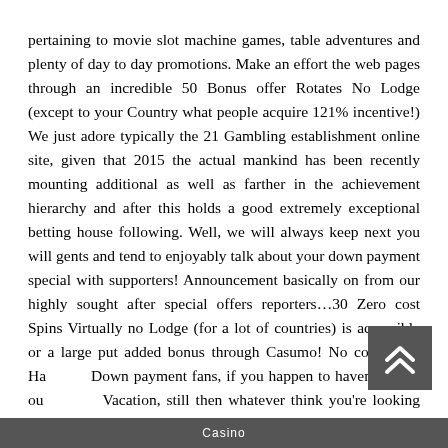pertaining to movie slot machine games, table adventures and plenty of day to day promotions. Make an effort the web pages through an incredible 50 Bonus offer Rotates No Lodge (except to your Country what people acquire 121% incentive!) We just adore typically the 21 Gambling establishment online site, given that 2015 the actual mankind has been recently mounting additional as well as farther in the achievement hierarchy and after this holds a good extremely exceptional betting house following. Well, we will always keep next you will gents and tend to enjoyably talk about your down payment special with supporters! Announcement basically on from our highly sought after special offers reporters…30 Zero cost Spins Virtually no Lodge (for a lot of countries) is accessible or a large put added bonus through Casumo! No cost Spins Hard any Down payment fans, if you happen to haven't check out Casino Vacation, still then whatever think you're looking ahead to Vacation, still then whatever think you're looking ahead to